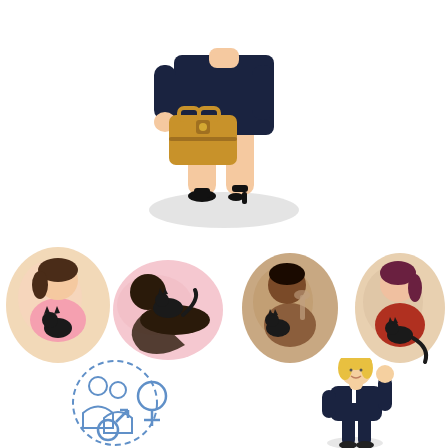[Figure (illustration): Illustration of a businesswoman (lower body visible) in a dark suit holding a brown briefcase, standing on a light grey oval shadow. High heels shoes visible.]
[Figure (illustration): Four illustrated circular vignettes of diverse women with black cats in various poses: first woman sitting upright hugging a black cat (pink/beige background), second woman lying down with a black cat on her chest (pink/beige background), third dark-skinned woman sitting with a cat and wine glass (brown/tan background), fourth woman sitting with a black cat in her lap (maroon/beige background).]
[Figure (illustration): Lower left: outline icon illustration showing a group of people with a female gender symbol and male gender symbol (blue line art style). Lower right: cartoon illustration of a blonde businesswoman in a dark suit raising one hand.]